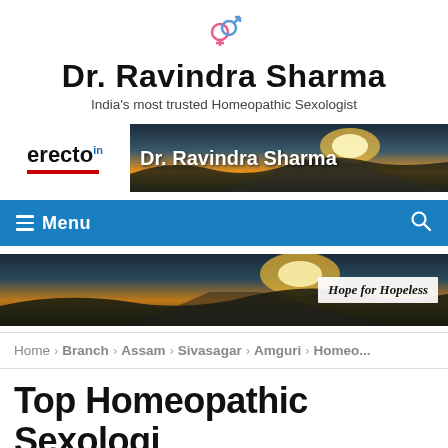[Figure (logo): Gender symbol icon (combined male/female symbols) in pink/red and blue]
Dr. Ravindra Sharma
India's most trusted Homeopathic Sexologist
[Figure (logo): erecto.in logo with red underline on white, alongside a banner image of a road at sunset with text 'Dr. Ravindra Sharma']
≡ Menu
[Figure (photo): Hero banner image of a road/landscape at sunset with text overlay 'Hope for Hopeless']
Home > Branch > Assam > Sivasagar > Amguri > Homeo...
Top Homeopathic Sexologist